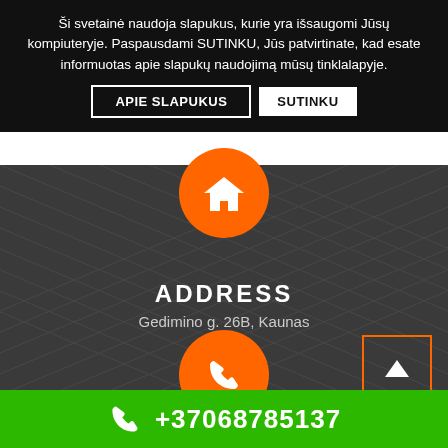Ši svetainė naudoja slapukus, kurie yra išsaugomi Jūsų kompiuteryje. Paspausdami SUTINKU, Jūs patvirtinate, kad esate informuotas apie slapukų naudojimą mūsų tinklalapyje.
SUTINKU
APIE SLAPUKUS
[Figure (other): Orange circle with white home icon]
ADDRESS
Gedimino g. 26B, Kaunas
[Figure (other): Orange circle with white phone icon]
[Figure (other): Orange bordered square with white up arrow (back to top button)]
+37068785137